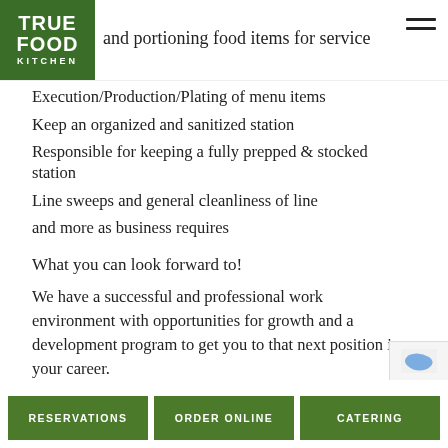TRUE FOOD KITCHEN
and portioning food items for service
Execution/Production/Plating of menu items
Keep an organized and sanitized station
Responsible for keeping a fully prepped & stocked station
Line sweeps and general cleanliness of line
and more as business requires
What you can look forward to!
We have a successful and professional work environment with opportunities for growth and a development program to get you to that next position in your career.
AM/PM and Mid-day shifts available
RESERVATIONS | ORDER ONLINE | CATERING